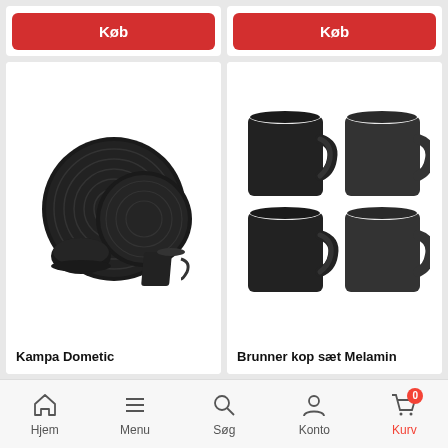[Figure (screenshot): Red 'Køb' (Buy) button on left product card top]
[Figure (screenshot): Red 'Køb' (Buy) button on right product card top]
[Figure (photo): Black ceramic dinnerware set - Kampa Dometic, showing plates, bowl and cup]
Kampa Dometic
[Figure (photo): Four black Brunner melamine mugs arranged in 2x2 grid]
Brunner kop sæt Melamin
Hjem  Menu  Søg  Konto  Kurv